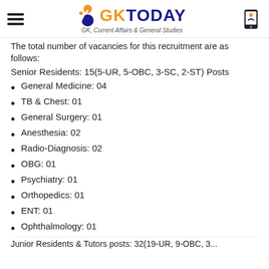GK TODAY — GK, Current Affairs & General Studies
The total number of vacancies for this recruitment are as follows:
Senior Residents: 15(5-UR, 5-OBC, 3-SC, 2-ST) Posts
General Medicine: 04
TB & Chest: 01
General Surgery: 01
Anesthesia: 02
Radio-Diagnosis: 02
OBG: 01
Psychiatry: 01
Orthopedics: 01
ENT: 01
Ophthalmology: 01
Junior Residents & Tutors posts: 32(19-UR, 9-OBC, 3...